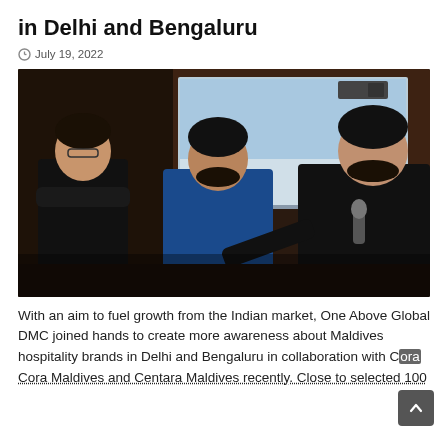in Delhi and Bengaluru
July 19, 2022
[Figure (photo): Three men at an event; one on the right holds a microphone and points at the man in the center wearing a blue t-shirt, while a third man on the left stands with arms crossed. A projection screen is visible in the background.]
With an aim to fuel growth from the Indian market, One Above Global DMC joined hands to create more awareness about Maldives hospitality brands in Delhi and Bengaluru in collaboration with Cora Cora Maldives and Centara Maldives recently. Close to selected 100